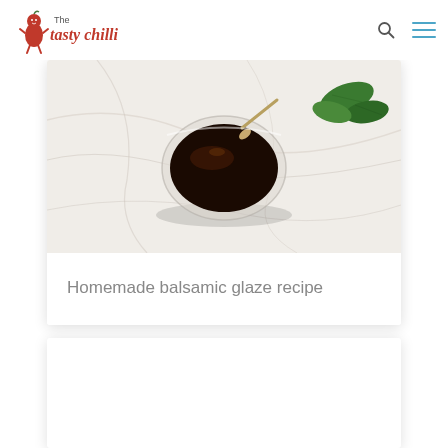The tasty chilli
[Figure (photo): A glass bowl containing dark balsamic glaze with a spoon, placed on a white marble surface with green basil leaves in the background]
Homemade balsamic glaze recipe